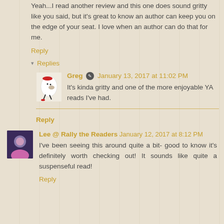Yeah...I read another review and this one does sound gritty like you said, but it's great to know an author can keep you on the edge of your seat. I love when an author can do that for me.
Reply
Replies
Greg January 13, 2017 at 11:02 PM
It's kinda gritty and one of the more enjoyable YA reads I've had.
Reply
[Figure (photo): Avatar of user Lee showing a purple-toned profile image]
Lee @ Rally the Readers January 12, 2017 at 8:12 PM
I've been seeing this around quite a bit- good to know it's definitely worth checking out! It sounds like quite a suspenseful read!
Reply